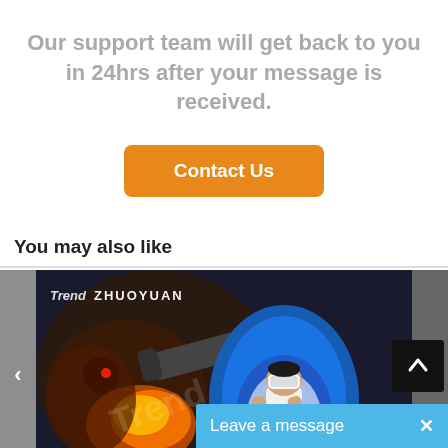Our support team will get back to you in 24hrs after your message is received.
[Figure (other): Orange 'Contact Us' button]
You may also like
[Figure (photo): Person sitting in a VR egg chair/simulator with a VR headset on. The chair is blue and the background has a fantasy/game themed illustration. Brand watermark reads 'Trend ZHUOYUAN'.]
[Figure (other): Black scroll-to-top button with upward arrow]
Leave a message